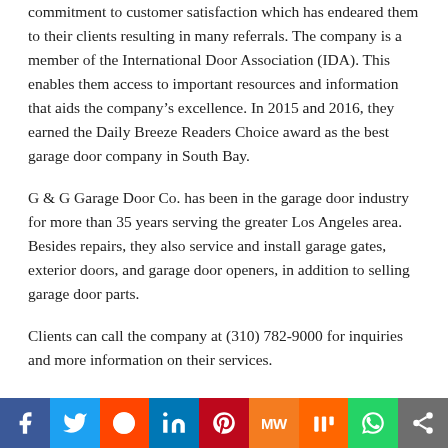commitment to customer satisfaction which has endeared them to their clients resulting in many referrals. The company is a member of the International Door Association (IDA). This enables them access to important resources and information that aids the company’s excellence. In 2015 and 2016, they earned the Daily Breeze Readers Choice award as the best garage door company in South Bay.
G & G Garage Door Co. has been in the garage door industry for more than 35 years serving the greater Los Angeles area. Besides repairs, they also service and install garage gates, exterior doors, and garage door openers, in addition to selling garage door parts.
Clients can call the company at (310) 782-9000 for inquiries and more information on their services.